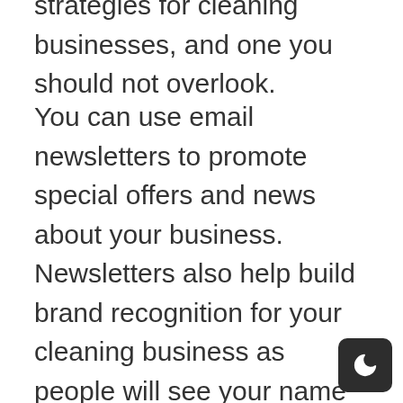strategies for cleaning businesses, and one you should not overlook.
You can use email newsletters to promote special offers and news about your business. Newsletters also help build brand recognition for your cleaning business as people will see your name repeatedly in their inboxes.
Repetition enables you to stay top-of-mind when someone needs a good cleaner!
Keep in mind that email is a two-way